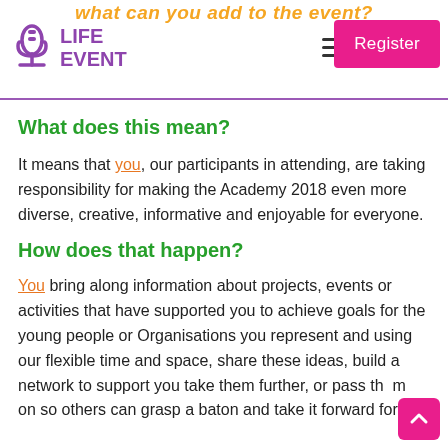what can you add to the event?
LIFE EVENT
What does this mean?
It means that you, our participants in attending, are taking responsibility for making the Academy 2018 even more diverse, creative, informative and enjoyable for everyone.
How does that happen?
You bring along information about projects, events or activities that have supported you to achieve goals for the young people or Organisations you represent and using our flexible time and space, share these ideas, build a network to support you take them further, or pass them on so others can grasp a baton and take it forward for